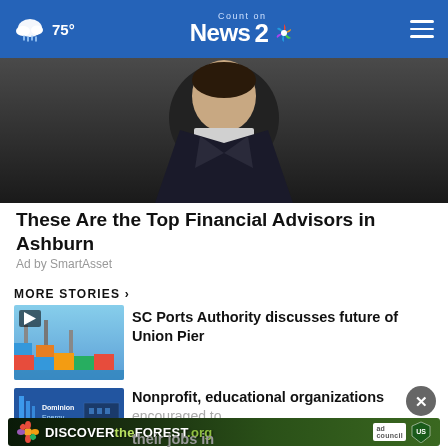75° Count on News 2 NBC
[Figure (photo): Professional photo of a person in dark suit on dark background, cropped at upper body]
These Are the Top Financial Advisors in Ashburn
Ad by SmartAsset
MORE STORIES ›
[Figure (photo): Thumbnail of shipping port with colorful cargo containers, with play button icon overlay]
SC Ports Authority discusses future of Union Pier
[Figure (photo): Thumbnail showing Dominion Energy logo and building]
Nonprofit, educational organizations encouraged to ...
[Figure (photo): Discover the Forest advertisement banner — DISCOVERtheFOREST.org with ad council and US Forest Service logos]
their jobs in